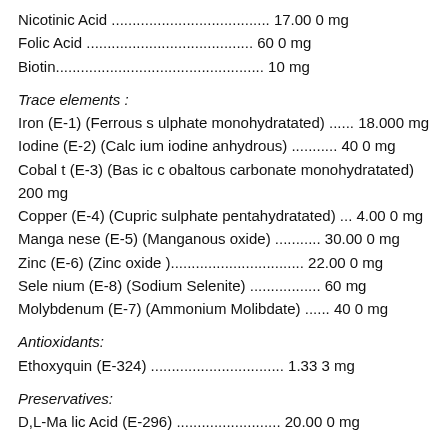Nicotinic Acid ...................................... 17.00 0 mg
Folic Acid ........................................ 60 0 mg
Biotin.................................................. 10 mg
Trace elements :
Iron (E-1) (Ferrous s ulphate monohydratated) ...... 18.000 mg
Iodine (E-2) (Calc ium iodine anhydrous) ........... 40 0 mg
Cobal t (E-3) (Bas ic c obaltous carbonate monohydratated) 200 mg
Copper (E-4) (Cupric sulphate pentahydratated) ... 4.00 0 mg
Manga nese (E-5) (Manganous oxide) ........... 30.00 0 mg
Zinc (E-6) (Zinc oxide )................................ 22.00 0 mg
Sele nium (E-8) (Sodium Selenite) ................. 60 mg
Molybdenum (E-7) (Ammonium Molibdate) ...... 40 0 mg
Antioxidants:
Ethoxyquin (E-324) ................................ 1.33 3 mg
Preservatives:
D,L-Ma lic Acid (E-296) ......................... 20.00 0 mg